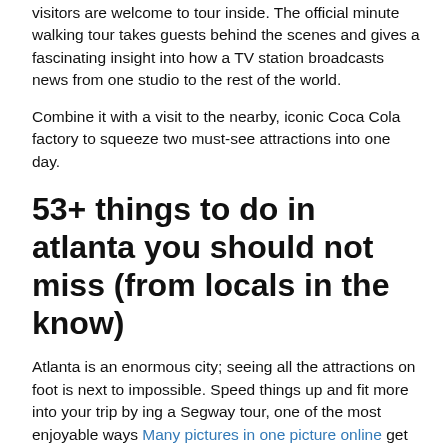visitors are welcome to tour inside. The official minute walking tour takes guests behind the scenes and gives a fascinating insight into how a TV station broadcasts news from one studio to the rest of the world.
Combine it with a visit to the nearby, iconic Coca Cola factory to squeeze two must-see attractions into one day.
53+ things to do in atlanta you should not miss (from locals in the know)
Atlanta is an enormous city; seeing all the attractions on foot is next to impossible. Speed things up and fit more into your trip by ing a Segway tour, one of the most enjoyable ways Many pictures in one picture online get around town. Tours zip through a of historic neighborhoods, including Midtown, Old Fourth Ward, and Cabbagetown, stopping at iconic landmarks like Centennial Olympic Park and Ebenezer Baptist Church along the way.
Built by the Atlanta Committee for the Olympic Games in time for the Olympics, this acre park nestled in the heart of the city has been a crowd favorite for decades. The public park puts